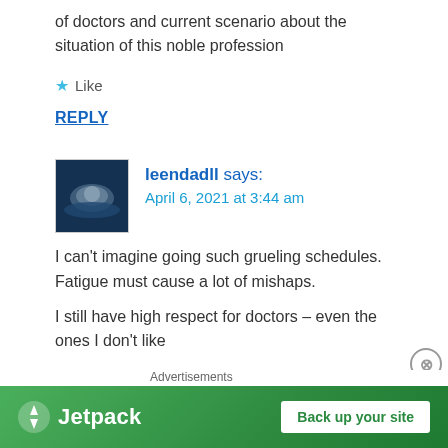of doctors and current scenario about the situation of this noble profession
★ Like
REPLY
leendadll says: April 6, 2021 at 3:44 am
I can't imagine going such grueling schedules. Fatigue must cause a lot of mishaps.
I still have high respect for doctors – even the ones I don't like
Advertisements
[Figure (screenshot): Jetpack advertisement banner with green background showing Jetpack logo and 'Back up your site' button]